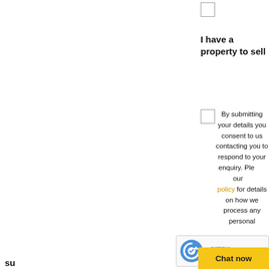I have a property to sell
By submitting your details you consent to us contacting you to respond to your enquiry. Please read our privacy policy for details on how we process any personal data submitted.
[Figure (other): reCAPTCHA badge with logo, Privacy and Terms links]
Chat now
su...